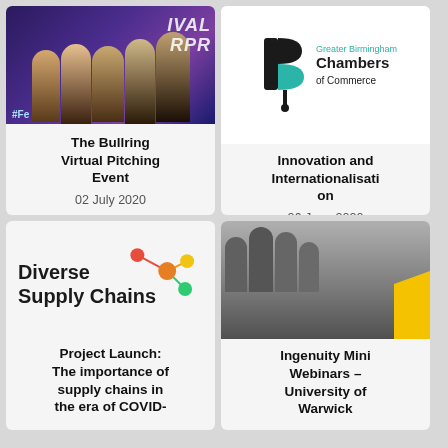[Figure (photo): Group photo of people at Festival of Enterprise event with purple stage lighting]
The Bullring Virtual Pitching Event
02 July 2020
[Figure (logo): Greater Birmingham Chambers of Commerce logo — stylized B mark in black and teal, with text 'Greater Birmingham Chambers of Commerce']
Innovation and Internationalisation
26 June 2020
[Figure (logo): Diverse Supply Chains logo — colourful connected dots/network graphic with text 'Diverse Supply Chains']
Project Launch: The importance of supply chains in the era of COVID-
[Figure (photo): Black and white photo of group of people with overlay text 'USE YOUR INGENUITY TO BUILD COMMUNITY' and yellow accent bar]
Ingenuity Mini Webinars – University of Warwick